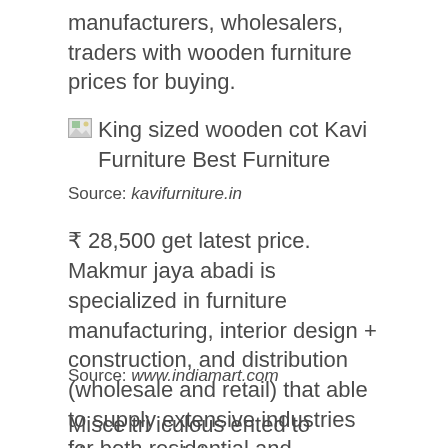manufacturers, wholesalers, traders with wooden furniture prices for buying.
[Figure (photo): Broken image placeholder for King sized wooden cot Kavi Furniture Best Furniture]
King sized wooden cot Kavi Furniture Best Furniture
Source: kavifurniture.in
₹ 28,500 get latest price. Makmur jaya abadi is specialized in furniture manufacturing, interior design + construction, and distribution (wholesale and retail) that able to supply extensive industries for both residential and commercial project.
Source: www.indiamart.com
Misce tri iculous ented to cleanse and decompose